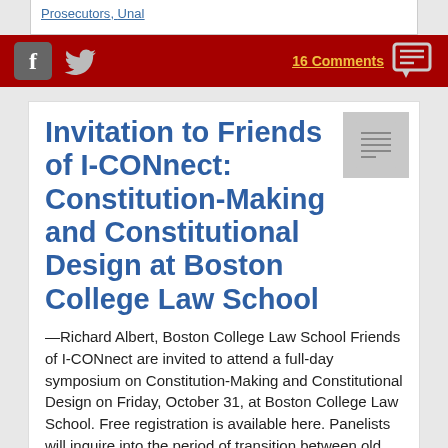Prosecutors, Unal
[Figure (infographic): Red social media bar with Facebook and Twitter icons on the left, and '16 Comments' link with comment bubble icon on the right]
Invitation to Friends of I-CONnect: Constitution-Making and Constitutional Design at Boston College Law School
—Richard Albert, Boston College Law School Friends of I-CONnect are invited to attend a full-day symposium on Constitution-Making and Constitutional Design on Friday, October 31, at Boston College Law School. Free registration is available here. Panelists will inquire into the period of transition between old and new constitutions, the mechanics of constitution-making and -breaking, the role that